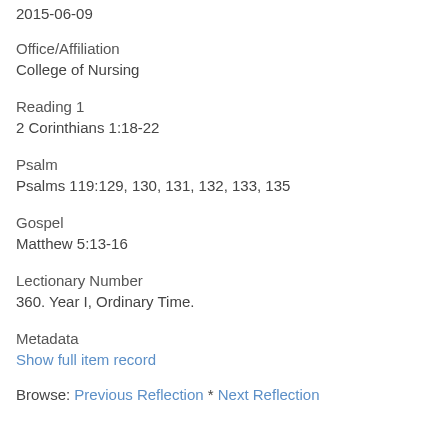2015-06-09
Office/Affiliation
College of Nursing
Reading 1
2 Corinthians 1:18-22
Psalm
Psalms 119:129, 130, 131, 132, 133, 135
Gospel
Matthew 5:13-16
Lectionary Number
360. Year I, Ordinary Time.
Metadata
Show full item record
Browse: Previous Reflection * Next Reflection